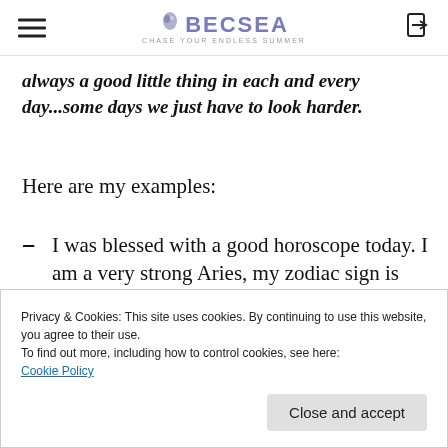BECSEA — CHASE YOUR ENDLESS SUMMER
always a good little thing in each and every day...some days we just have to look harder.
Here are my examples:
I was blessed with a good horoscope today. I am a very strong Aries, my zodiac sign is very accurate.
Privacy & Cookies: This site uses cookies. By continuing to use this website, you agree to their use.
To find out more, including how to control cookies, see here:
Cookie Policy
Close and accept